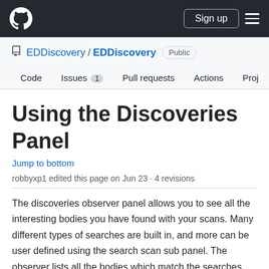GitHub navigation bar with logo, Sign up button, and hamburger menu
EDDiscovery / EDDiscovery Public
Code  Issues 1  Pull requests  Actions  Projects 2
Using the Discoveries Panel
Jump to bottom
robbyxp1 edited this page on Jun 23 · 4 revisions
The discoveries observer panel allows you to see all the interesting bodies you have found with your scans. Many different types of searches are built in, and more can be user defined using the search scan sub panel. The observer lists all the bodies which match the searches you indicate you want to execute.